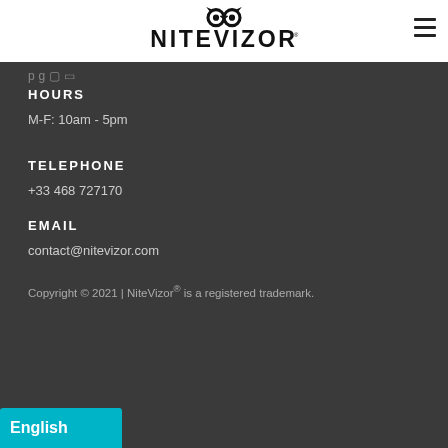[Figure (logo): NiteVizor logo with owl eyes above the brand name]
HOURS
M-F: 10am - 5pm
TELEPHONE
+33 468 727170
EMAIL
contact@nitevizor.com
Copyright © 2021 | NiteVizor® is a registered trademark.
English